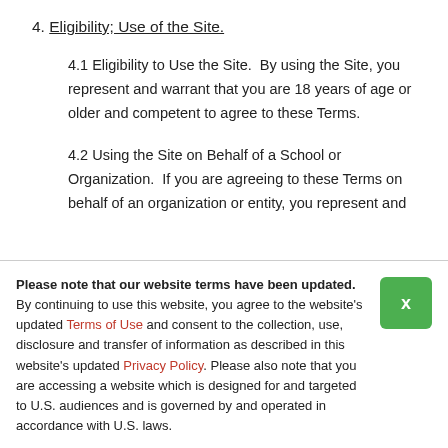4. Eligibility; Use of the Site.
4.1 Eligibility to Use the Site.  By using the Site, you represent and warrant that you are 18 years of age or older and competent to agree to these Terms.
4.2 Using the Site on Behalf of a School or Organization.  If you are agreeing to these Terms on behalf of an organization or entity, you represent and
Please note that our website terms have been updated. By continuing to use this website, you agree to the website’s updated Terms of Use and consent to the collection, use, disclosure and transfer of information as described in this website’s updated Privacy Policy. Please also note that you are accessing a website which is designed for and targeted to U.S. audiences and is governed by and operated in accordance with U.S. laws.